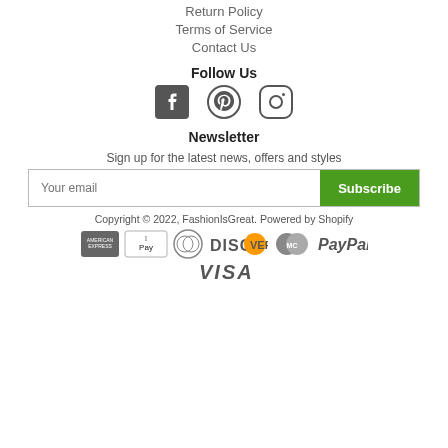Return Policy
Terms of Service
Contact Us
Follow Us
[Figure (illustration): Social media icons: Facebook, Pinterest, Instagram]
Newsletter
Sign up for the latest news, offers and styles
Your email [input] Subscribe [button]
Copyright © 2022, FashionIsGreat. Powered by Shopify
[Figure (illustration): Payment icons: American Express, Apple Pay, Diners Club, Discover, Mastercard, PayPal, Visa]